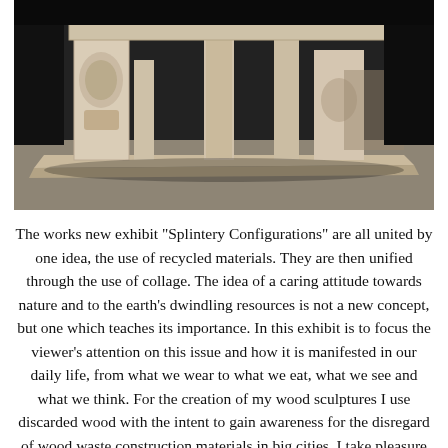[Figure (photo): Photograph of a whitewashed/weathered wooden sculptural piece resembling an ornate table or chair base with carved decorative elements, resting on a flat board, photographed against a dark background.]
The works new exhibit "Splintery Configurations" are all united by one idea, the use of recycled materials. They are then unified through the use of collage. The idea of a caring attitude towards nature and to the earth's dwindling resources is not a new concept, but one which teaches its importance. In this exhibit is to focus the viewer's attention on this issue and how it is manifested in our daily life, from what we wear to what we eat, what we see and what we think. For the creation of my wood sculptures I use discarded wood with the intent to gain awareness for the disregard of wood waste construction materials in big cities. I take pleasure in the process of creation and enjoy the idea